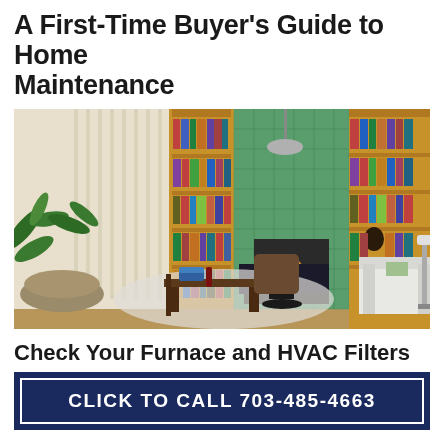A First-Time Buyer's Guide to Home Maintenance
[Figure (photo): Modern living room interior with green tiled fireplace, bookshelves, mid-century modern furniture, a large plant, and wooden flooring]
Check Your Furnace and HVAC Filters
CLICK TO CALL 703-485-4663